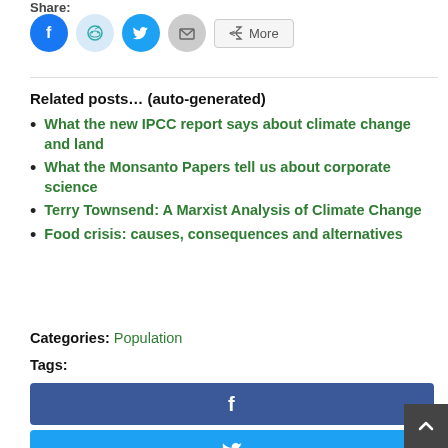Share:
[Figure (infographic): Social share icons: Facebook (blue circle), Reddit (light blue circle), Twitter (cyan circle), Email (grey circle), and a More button]
Related posts… (auto-generated)
What the new IPCC report says about climate change and land
What the Monsanto Papers tell us about corporate science
Terry Townsend: A Marxist Analysis of Climate Change
Food crisis: causes, consequences and alternatives
Categories: Population
Tags:
[Figure (infographic): Facebook share button (dark blue bar with f icon)]
[Figure (infographic): Twitter share button (light blue bar with bird icon)]